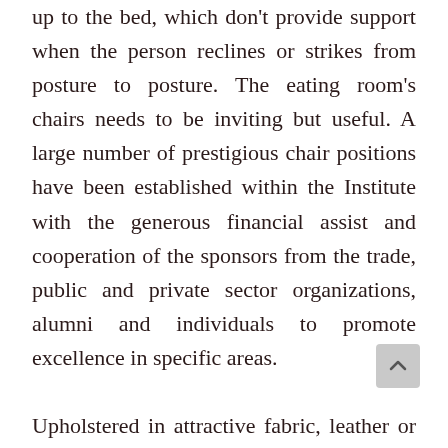up to the bed, which don't provide support when the person reclines or strikes from posture to posture. The eating room's chairs needs to be inviting but useful. A large number of prestigious chair positions have been established within the Institute with the generous financial assist and cooperation of the sponsors from the trade, public and private sector organizations, alumni and individuals to promote excellence in specific areas.

Upholstered in attractive fabric, leather or leatherette, these chairs combine type, hospitality and comfort. In place of a constructed-in footrest, some chairs come with an identical ottoman An ottoman is a short stool that is meant to be used as